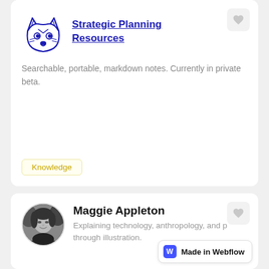[Figure (logo): Wolf/fox face line-art logo in dark navy blue]
Strategic Planning Resources
Searchable, portable, markdown notes. Currently in private beta.
Knowledge
[Figure (photo): Circular profile photo of Maggie Appleton, a woman with dark hair, black and white style]
Maggie Appleton
Explaining technology, anthropology, and p through illustration.